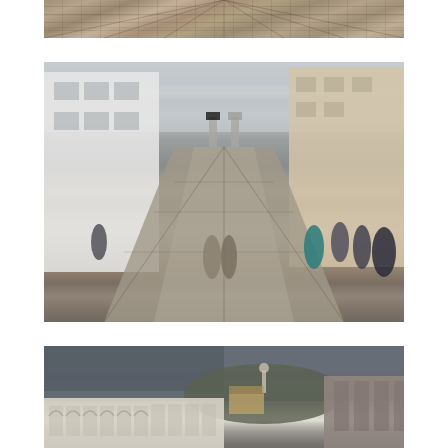[Figure (photo): Close-up of cobblestone or brick pavement viewed from above, showing a textured surface in warm browns and tans. Only the bottom portion of this photo is visible, cropped at the top of the page.]
[Figure (photo): Street scene in what appears to be Quito, Ecuador's historic center. A wide cobblestone pedestrian street stretches into the distance with colonial buildings on both sides, people walking, and church towers visible in the background under an overcast sky.]
[Figure (photo): Panoramic view of a city square or plaza with colonial architecture, dramatic stormy gray sky, a hillside with a monument or statue in the background, and ornate stone building facades in the foreground. Appears to be the Plaza Grande or similar historic plaza in Quito, Ecuador.]